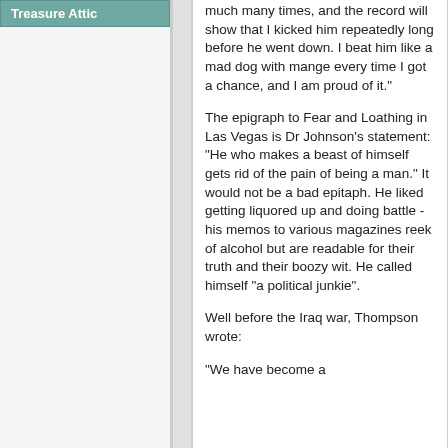Treasure Attic
much many times, and the record will show that I kicked him repeatedly long before he went down. I beat him like a mad dog with mange every time I got a chance, and I am proud of it."
The epigraph to Fear and Loathing in Las Vegas is Dr Johnson's statement: "He who makes a beast of himself gets rid of the pain of being a man." It would not be a bad epitaph. He liked getting liquored up and doing battle - his memos to various magazines reek of alcohol but are readable for their truth and their boozy wit. He called himself "a political junkie".
Well before the Iraq war, Thompson wrote:
“We have become a